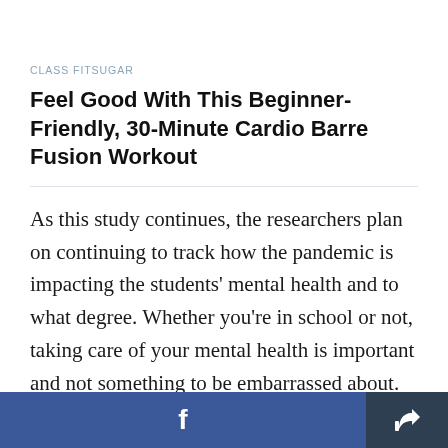CLASS FITSUGAR
Feel Good With This Beginner-Friendly, 30-Minute Cardio Barre Fusion Workout
As this study continues, the researchers plan on continuing to track how the pandemic is impacting the students' mental health and to what degree. Whether you're in school or not, taking care of your mental health is important and not something to be embarrassed about. Meditation, breathwork, exercise, yoga, and journaling are just a few ways to
Facebook share | Share